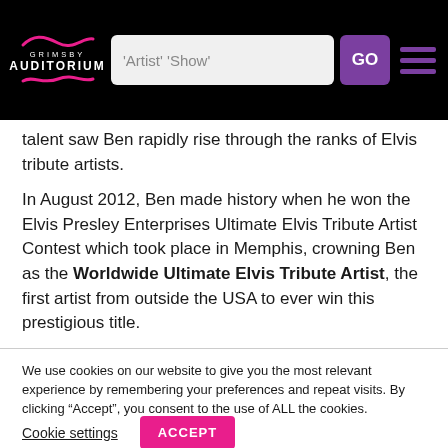Grimsby Auditorium — navigation bar with logo, search box, GO button, and hamburger menu
talent saw Ben rapidly rise through the ranks of Elvis tribute artists.
In August 2012, Ben made history when he won the Elvis Presley Enterprises Ultimate Elvis Tribute Artist Contest which took place in Memphis, crowning Ben as the Worldwide Ultimate Elvis Tribute Artist, the first artist from outside the USA to ever win this prestigious title.
We use cookies on our website to give you the most relevant experience by remembering your preferences and repeat visits. By clicking “Accept”, you consent to the use of ALL the cookies.
Cookie settings   ACCEPT